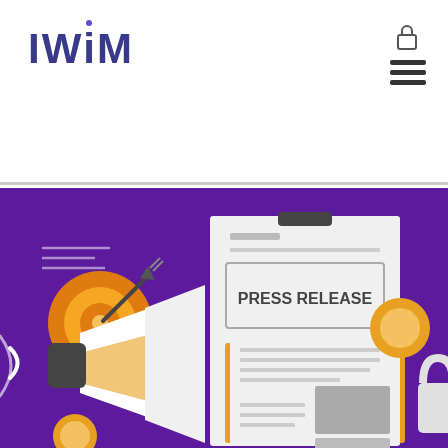IWiM
[Figure (illustration): Press Release illustration on purple background showing a press release document with 'PRESS RELEASE' text, a megaphone/loudspeaker, a target with arrow, orange coins, and a padlock on the right side. The document shows text lines and gray image placeholders.]